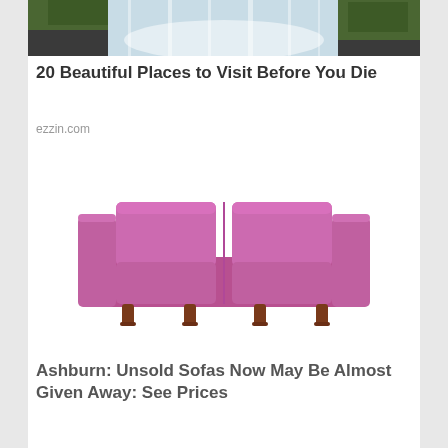[Figure (photo): Waterfall with green mossy rocks and mist, cropped view showing the top portion]
20 Beautiful Places to Visit Before You Die
ezzin.com
[Figure (photo): A pink/magenta mid-century modern sofa with two seat cushions and two back cushions, on dark wooden legs, on white background]
Ashburn: Unsold Sofas Now May Be Almost Given Away: See Prices